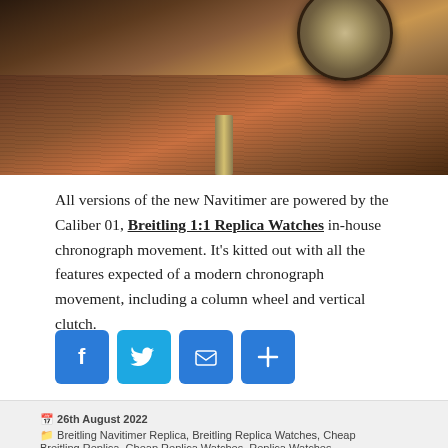[Figure (photo): A Breitling watch placed on a wooden surface/stand, photographed from above at an angle, with warm brown wood tones and a metal stand visible.]
All versions of the new Navitimer are powered by the Caliber 01, Breitling 1:1 Replica Watches in-house chronograph movement. It's kitted out with all the features expected of a modern chronograph movement, including a column wheel and vertical clutch.
[Figure (infographic): Social sharing buttons: Facebook, Twitter, Email, and Share/More icons, each as a blue rounded square icon.]
26th August 2022   Breitling Navitimer Replica, Breitling Replica Watches, Cheap Breitling Replica, Cheap Replica Watches, Replica Watches   Breitling Navitimer B01 Replica, Breitling